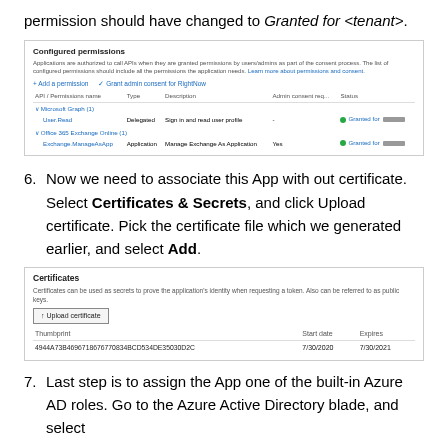permission should have changed to Granted for <tenant>.
[Figure (screenshot): Azure AD Configured permissions screenshot showing Microsoft Graph (User.Read, Delegated, Sign in and read user profile, Granted) and Office 365 Exchange Online (Exchange.ManageAsApp, Application, Manage Exchange As Application, Yes, Granted) permissions table with Add a permission and Grant admin consent buttons.]
6. Now we need to associate this App with out certificate. Select Certificates & Secrets, and click Upload certificate. Pick the certificate file which we generated earlier, and select Add.
[Figure (screenshot): Azure Certificates panel showing Upload certificate button and a table with Thumbprint: 4944A73B4696718676770834BCD534DE35030D2C, Start date: 7/30/2020, Expires: 7/30/2021]
7. Last step is to assign the App one of the built-in Azure AD roles. Go to the Azure Active Directory blade, and select